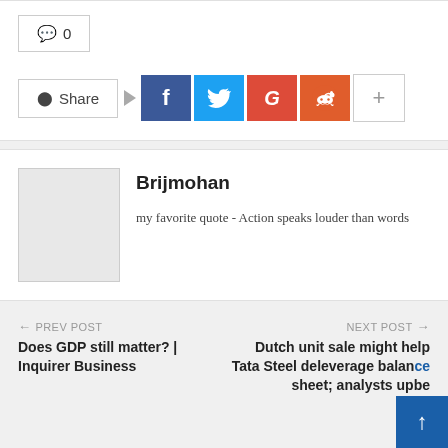💬 0
Share
Brijmohan
my favorite quote - Action speaks louder than words
← PREV POST
Does GDP still matter? | Inquirer Business
NEXT POST →
Dutch unit sale might help Tata Steel deleverage balance sheet; analysts upbe...